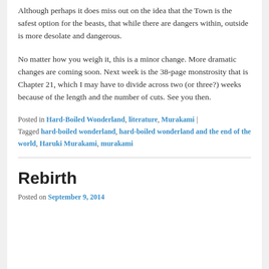Although perhaps it does miss out on the idea that the Town is the safest option for the beasts, that while there are dangers within, outside is more desolate and dangerous.
No matter how you weigh it, this is a minor change. More dramatic changes are coming soon. Next week is the 38-page monstrosity that is Chapter 21, which I may have to divide across two (or three?) weeks because of the length and the number of cuts. See you then.
Posted in Hard-Boiled Wonderland, literature, Murakami | Tagged hard-boiled wonderland, hard-boiled wonderland and the end of the world, Haruki Murakami, murakami
Rebirth
Posted on September 9, 2014